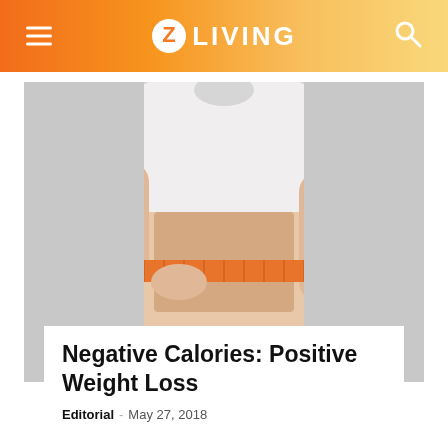Z LIVING
[Figure (photo): Woman in white crop top measuring her waist with an orange measuring tape, against a light gray background.]
Negative Calories: Positive Weight Loss
Editorial · May 27, 2018